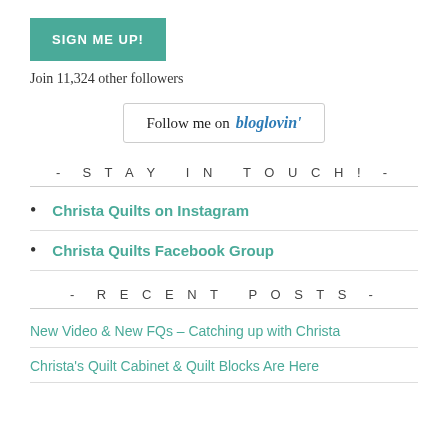SIGN ME UP!
Join 11,324 other followers
[Figure (other): Follow me on bloglovin' button with border]
- STAY IN TOUCH! -
Christa Quilts on Instagram
Christa Quilts Facebook Group
- RECENT POSTS -
New Video & New FQs – Catching up with Christa
Christa's Quilt Cabinet & Quilt Blocks Are Here